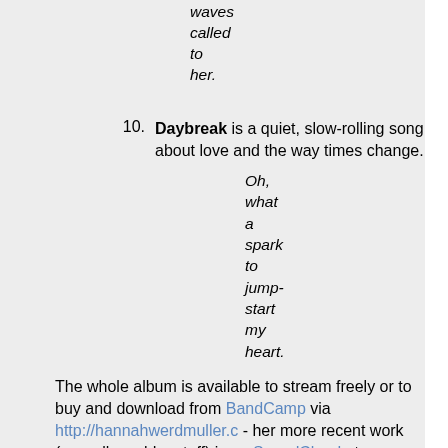waves called to her.
10. Daybreak is a quiet, slow-rolling song about love and the way times change.
Oh, what a spark to jump-start my heart.
The whole album is available to stream freely or to buy and download from BandCamp via http://hannahwerdmuller.c - her more recent work (as well as older stuff) is on SoundCloud at http://soundcloud.com/han